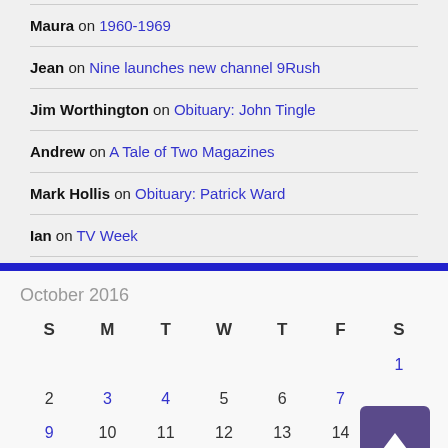Maura on 1960-1969
Jean on Nine launches new channel 9Rush
Jim Worthington on Obituary: John Tingle
Andrew on A Tale of Two Magazines
Mark Hollis on Obituary: Patrick Ward
Ian on TV Week
| S | M | T | W | T | F | S |
| --- | --- | --- | --- | --- | --- | --- |
|  |  |  |  |  |  | 1 |
| 2 | 3 | 4 | 5 | 6 | 7 |  |
| 9 | 10 | 11 | 12 | 13 | 14 |  |
| 16 | 17 | 18 | 19 | 20 | 21 | 22 |